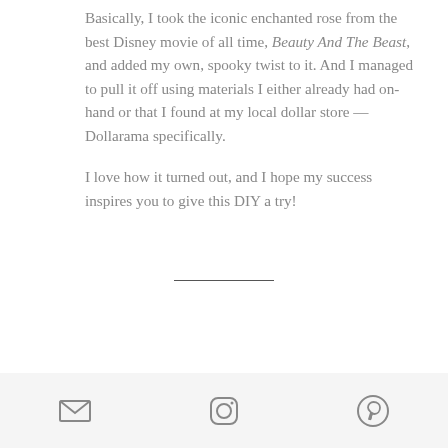Basically, I took the iconic enchanted rose from the best Disney movie of all time, Beauty And The Beast, and added my own, spooky twist to it. And I managed to pull it off using materials I either already had on-hand or that I found at my local dollar store — Dollarama specifically.

I love how it turned out, and I hope my success inspires you to give this DIY a try!
[Figure (other): Horizontal divider line]
[Figure (infographic): Footer bar with three social media icons: email/envelope icon, Instagram icon, Pinterest icon]